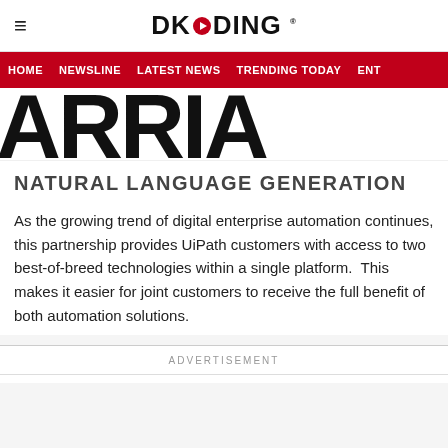DKODING
[Figure (screenshot): Navigation bar with red background showing HOME, NEWSLINE, LATEST NEWS, TRENDING TODAY, ENT menu items]
[Figure (logo): Large ARRIA text logo in bold black letters, cropped showing partial brand name]
NATURAL LANGUAGE GENERATION
As the growing trend of digital enterprise automation continues, this partnership provides UiPath customers with access to two best-of-breed technologies within a single platform.  This makes it easier for joint customers to receive the full benefit of both automation solutions.
ADVERTISEMENT